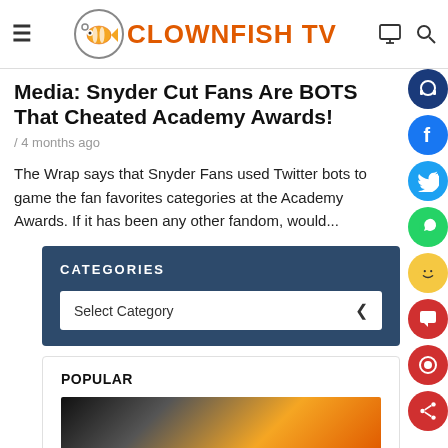CLOWNFISH TV
Media: Snyder Cut Fans Are BOTS That Cheated Academy Awards!
/ 4 months ago
The Wrap says that Snyder Fans used Twitter bots to game the fan favorites categories at the Academy Awards. If it has been any other fandom, would...
CATEGORIES
Select Category
POPULAR